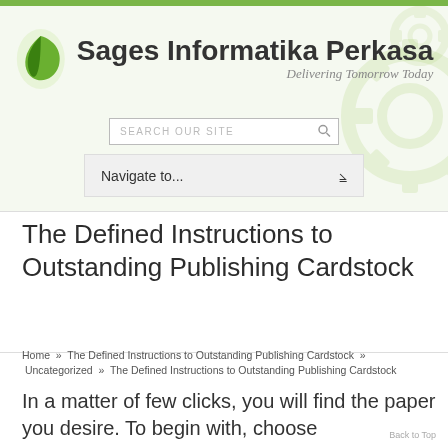[Figure (logo): Sages Informatika Perkasa logo with green leaf/swirl icon, company name, and tagline 'Delivering Tomorrow Today']
The Defined Instructions to Outstanding Publishing Cardstock
Home  »  The Defined Instructions to Outstanding Publishing Cardstock  »  Uncategorized  »  The Defined Instructions to Outstanding Publishing Cardstock
In a matter of few clicks, you will find the paper you desire. To begin with, choose